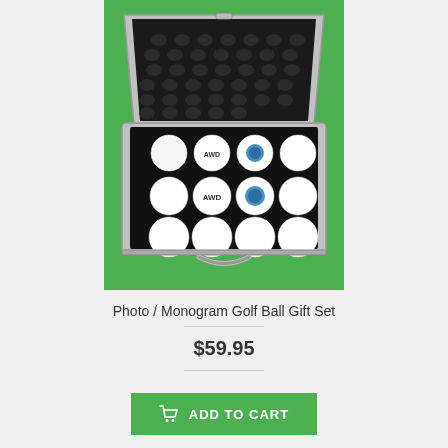[Figure (photo): A metal briefcase open to reveal 12 golf balls arranged in a 4x3 grid on black foam. Some balls have monogram 'AWD' printed on them, others have a logo/photo. The case is on a bright green background.]
Photo / Monogram Golf Ball Gift Set
$59.95
ADD TO CART
Add to Wish List
Add to Compare